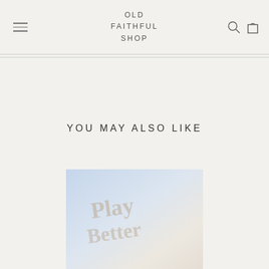OLD FAITHFUL SHOP
YOU MAY ALSO LIKE
[Figure (photo): Product photo with light blue and warm background tones, partially visible text overlay]